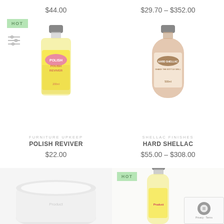$44.00
$29.70 – $352.00
[Figure (photo): Bottle of Polish Reviver product with yellow liquid and pink label, 200ml]
FURNITURE UPKEEP
POLISH REVIVER
$22.00
[Figure (photo): Bottle of Hard Shellac product with peach/orange liquid, 500ml]
SHELLAC FINISHES
HARD SHELLAC
$55.00 – $308.00
[Figure (photo): White jar/container product (partially visible at bottom left)]
[Figure (photo): Bottle with yellow liquid (partially visible at bottom right) with HOT badge]